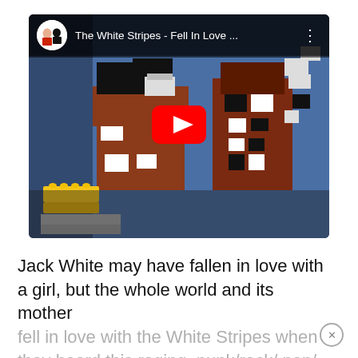[Figure (screenshot): YouTube video thumbnail showing a LEGO art scene of The White Stripes 'Fell In Love With a Girl' music video, with a red play button in the center. The YouTube card header shows a circular avatar of the White Stripes band members and the title 'The White Stripes - Fell In Love ...' with a three-dot menu icon.]
Jack White may have fallen in love with a girl, but the whole world and its mother fell in love with the White Stripes when they heard this raging, punk/rock/ pop/